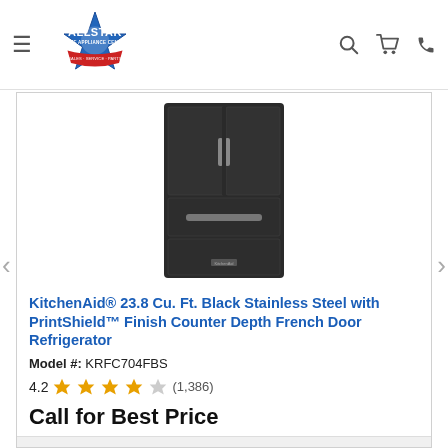[Figure (logo): Allstar Home Appliance Center logo — blue star with red ribbon banner, text ALLSTAR HOME APPLIANCE CENTER]
[Figure (photo): KitchenAid 23.8 Cu. Ft. Black Stainless Steel French Door Refrigerator product photo, showing top two French doors and lower drawer, dark matte finish]
KitchenAid® 23.8 Cu. Ft. Black Stainless Steel with PrintShield™ Finish Counter Depth French Door Refrigerator
Model #: KRFC704FBS
4.2 ★★★★☆ (1,386)
Call for Best Price
VIEW